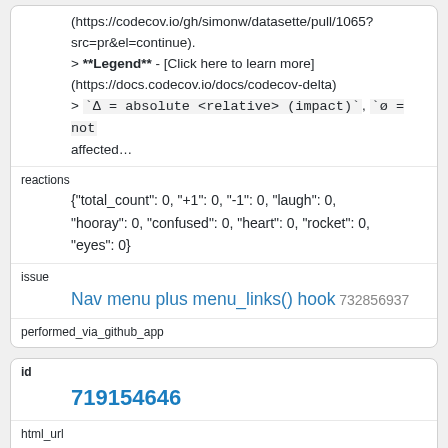(https://codecov.io/gh/simonw/datasette/pull/1065?src=pr&el=continue).
> **Legend** - [Click here to learn more](https://docs.codecov.io/docs/codecov-delta)
> `Δ = absolute <relative> (impact)`, `ø = not affected…`
reactions
{"total_count": 0, "+1": 0, "-1": 0, "laugh": 0, "hooray": 0, "confused": 0, "heart": 0, "rocket": 0, "eyes": 0}
issue
Nav menu plus menu_links() hook 732856937
performed_via_github_app
id
719154646
html_url
https://github.com/simonw/datasette/issues/1066#iss